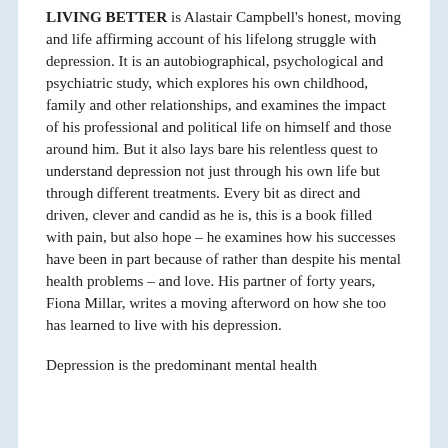LIVING BETTER is Alastair Campbell's honest, moving and life affirming account of his lifelong struggle with depression. It is an autobiographical, psychological and psychiatric study, which explores his own childhood, family and other relationships, and examines the impact of his professional and political life on himself and those around him. But it also lays bare his relentless quest to understand depression not just through his own life but through different treatments. Every bit as direct and driven, clever and candid as he is, this is a book filled with pain, but also hope – he examines how his successes have been in part because of rather than despite his mental health problems – and love. His partner of forty years, Fiona Millar, writes a moving afterword on how she too has learned to live with his depression.
Depression is the predominant mental health problem and has it in it to destroy lives.